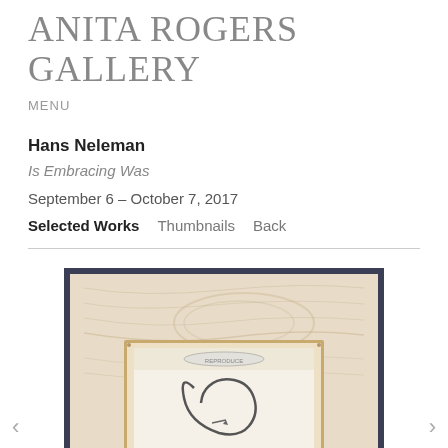ANITA ROGERS GALLERY
MENU
Hans Neleman
Is Embracing Was
September 6 – October 7, 2017
Selected Works   Thumbnails   Back
[Figure (photo): Framed artwork on wooden background: a drawing or print in a wooden box frame, showing a curved abstract figure, mounted within a larger light wood panel frame with dark outer border]
<
>